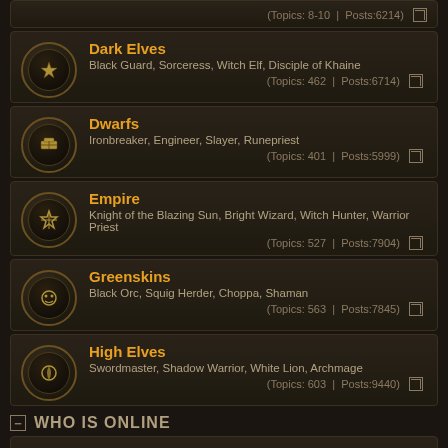(Topics: 8-10 | Posts:6214)
Dark Elves — Black Guard, Sorceress, Witch Elf, Disciple of Khaine — (Topics: 462 | Posts:6714)
Dwarfs — Ironbreaker, Engineer, Slayer, Runepriest — (Topics: 401 | Posts:5999)
Empire — Knight of the Blazing Sun, Bright Wizard, Witch Hunter, Warrior Priest — (Topics: 527 | Posts:7904)
Greenskins — Black Orc, Squig Herder, Choppa, Shaman — (Topics: 563 | Posts:7845)
High Elves — Swordmaster, Shadow Warrior, White Lion, Archmage — (Topics: 603 | Posts:9440)
WHO IS ONLINE
In total there are 164 users online :: 10 registered, 1 hidden and 153 guests (based on users active over the past 5 minutes)